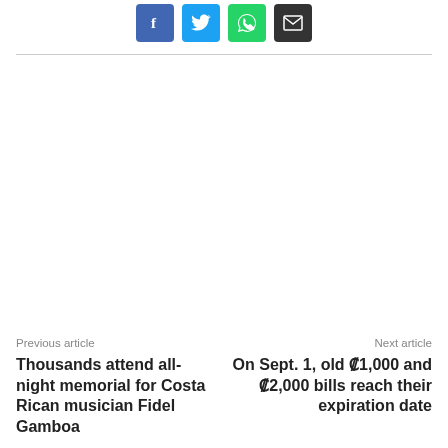[Figure (infographic): Social share buttons: Facebook (blue), Twitter (light blue), WhatsApp (green), Email (dark/black)]
Previous article
Thousands attend all-night memorial for Costa Rican musician Fidel Gamboa
Next article
On Sept. 1, old ₡1,000 and ₡2,000 bills reach their expiration date